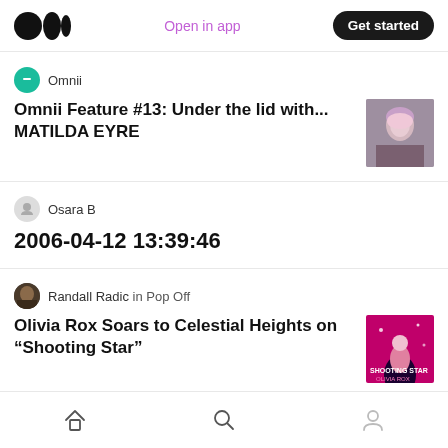Medium app header with logo, Open in app, Get started
Omnii
Omnii Feature #13: Under the lid with... MATILDA EYRE
Osara B
2006-04-12 13:39:46
Randall Radic in Pop Off
Olivia Rox Soars to Celestial Heights on “Shooting Star”
Jordan Gloor
Receiving Music 10: Pinegrove’s Skylight
Home, Search, Profile navigation icons